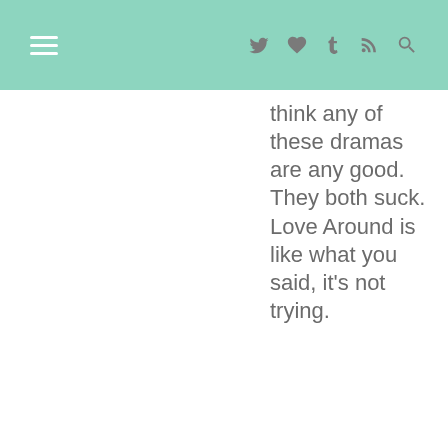navigation bar with hamburger menu and icons
think any of these dramas are any good. They both suck. Love Around is like what you said, it's not trying.